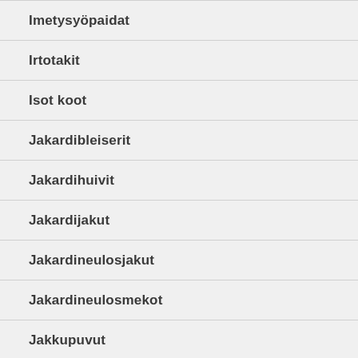Imetysyöpaidat
Irtotakit
Isot koot
Jakardibleiserit
Jakardihuivit
Jakardijakut
Jakardineulosjakut
Jakardineulosmekot
Jakkupuvut